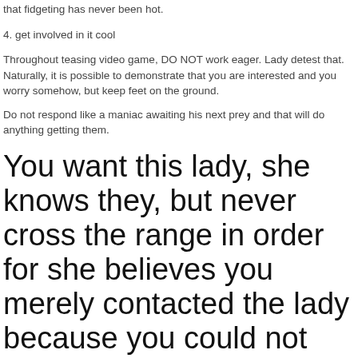that fidgeting has never been hot.
4. get involved in it cool
Throughout teasing video game, DO NOT work eager. Lady detest that. Naturally, it is possible to demonstrate that you are interested and you worry somehow, but keep feet on the ground.
Do not respond like a maniac awaiting his next prey and that will do anything getting them.
You want this lady, she knows they, but never cross the range in order for she believes you merely contacted the lady because you could not have another girl.
If you are going to insane lengths keeping this lady with you, it's going to